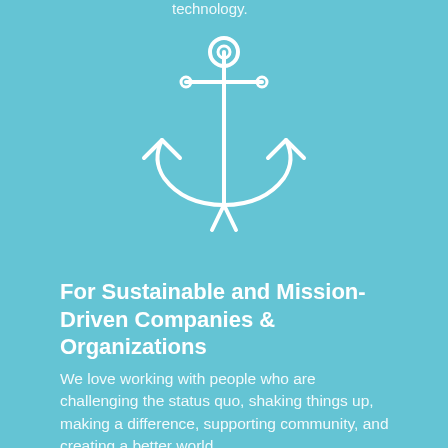technology.
[Figure (illustration): White outline anchor icon on teal/light blue background, centered on the page]
For Sustainable and Mission-Driven Companies & Organizations
We love working with people who are challenging the status quo, shaking things up, making a difference, supporting community, and creating a better world.